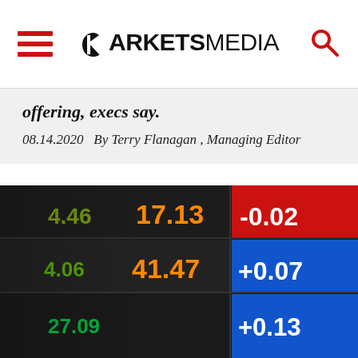MARKETS MEDIA
offering, execs say.
08.14.2020   By Terry Flanagan , Managing Editor
[Figure (photo): Close-up of a stock market ticker board showing price numbers (17.13, 41.47, 27.09) in orange/yellow on dark background, with change indicators (-0.02, +0.07, +0.13) on red and blue panels]